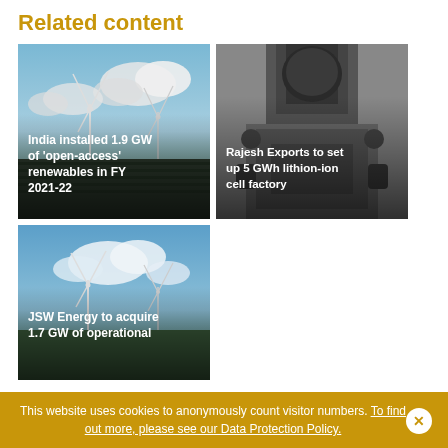Related content
[Figure (photo): Wind turbines in a field under cloudy sky with solar panels, with overlaid text: India installed 1.9 GW of 'open-access' renewables in FY 2021-22]
[Figure (photo): Close-up black and white photo of industrial mechanical part, with overlaid text: Rajesh Exports to set up 5 GWh lithion-ion cell factory]
[Figure (photo): Wind turbines under blue sky, with overlaid text: JSW Energy to acquire 1.7 GW of operational]
This website uses cookies to anonymously count visitor numbers. To find out more, please see our Data Protection Policy.